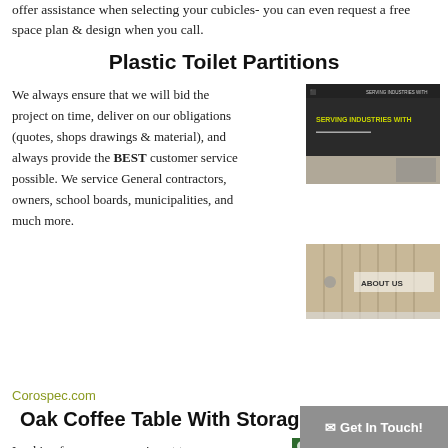offer assistance when selecting your cubicles- you can even request a free space plan & design when you call.
Plastic Toilet Partitions
We always ensure that we will bid the project on time, deliver on our obligations (quotes, shops drawings & material), and always provide the BEST customer service possible. We service General contractors, owners, school boards, municipalities, and much more.
[Figure (screenshot): Screenshot of Corospec website showing 'SERVING INDUSTRIES WITH' text on a dark header image]
[Figure (screenshot): Screenshot of Corospec website showing 'ABOUT US' section with wooden panel background]
Corospec.com
Oak Coffee Table With Storage
Looking for an accompaniment to your sitting room furniture? You'll love the solid oak coffee table with storage area offered by The Oak Furniture Shop, and it's priced right at just over $700,
[Figure (screenshot): Screenshot of Oak Furniture Shop website showing 'Free FedEx Ground Shipping on all Oak Furniture Products!' banner on green background]